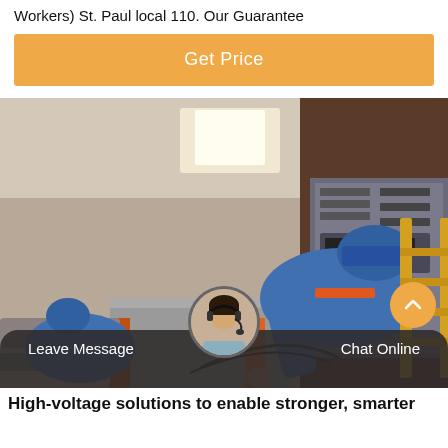Workers) St. Paul local 110. Our Guarantee
Get Price
[Figure (photo): Two electricians/workers in blue uniforms and blue hard hats working on high-voltage electrical equipment and large conduit pipes inside an industrial facility]
Leave Message
Chat Online
High-voltage solutions to enable stronger, smarter